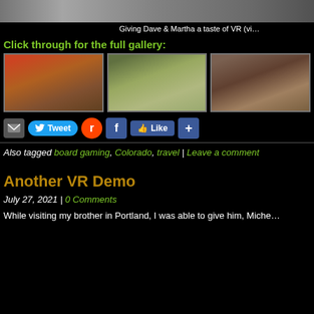[Figure (photo): Top strip showing partial photo of people experiencing VR]
Giving Dave & Martha a taste of VR (vi…
Click through for the full gallery:
[Figure (photo): Gallery thumbnail 1: people playing board game at table]
[Figure (photo): Gallery thumbnail 2: group of people standing outside near van]
[Figure (photo): Gallery thumbnail 3: woman in hat holding phone, plus toy train display]
Email Tweet Reddit Facebook Like Share
Also tagged board gaming, Colorado, travel | Leave a comment
Another VR Demo
July 27, 2021 | 0 Comments
While visiting my brother in Portland, I was able to give him, Miche…